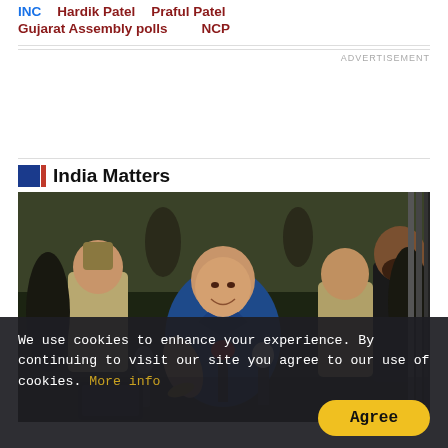INCǀ Hardik Patel ǀ Praful Patel
Gujarat Assembly polls    NCP
India Matters
[Figure (photo): Man in blue shirt smiling surrounded by crowd with microphones and police]
We use cookies to enhance your experience. By continuing to visit our site you agree to our use of cookies. More info
Agree